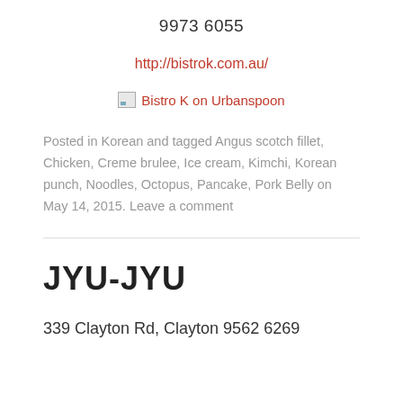9973 6055
http://bistrok.com.au/
[Figure (other): Bistro K on Urbanspoon image link placeholder]
Posted in Korean and tagged Angus scotch fillet, Chicken, Creme brulee, Ice cream, Kimchi, Korean punch, Noodles, Octopus, Pancake, Pork Belly on May 14, 2015. Leave a comment
JYU-JYU
339 Clayton Rd, Clayton 9562 6269